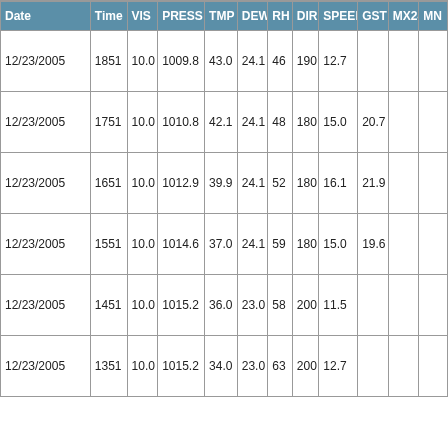| Date | Time | VIS | PRESS | TMP | DEW | RH | DIR | SPEED | GST | MX24 | MN |
| --- | --- | --- | --- | --- | --- | --- | --- | --- | --- | --- | --- |
| 12/23/2005 | 1851 | 10.0 | 1009.8 | 43.0 | 24.1 | 46 | 190 | 12.7 |  |  |  |
| 12/23/2005 | 1751 | 10.0 | 1010.8 | 42.1 | 24.1 | 48 | 180 | 15.0 | 20.7 |  |  |
| 12/23/2005 | 1651 | 10.0 | 1012.9 | 39.9 | 24.1 | 52 | 180 | 16.1 | 21.9 |  |  |
| 12/23/2005 | 1551 | 10.0 | 1014.6 | 37.0 | 24.1 | 59 | 180 | 15.0 | 19.6 |  |  |
| 12/23/2005 | 1451 | 10.0 | 1015.2 | 36.0 | 23.0 | 58 | 200 | 11.5 |  |  |  |
| 12/23/2005 | 1351 | 10.0 | 1015.2 | 34.0 | 23.0 | 63 | 200 | 12.7 |  |  |  |